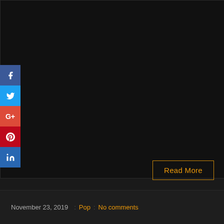[Figure (photo): Dark/black image area taking up the top portion of the page]
[Figure (infographic): Social media share buttons sidebar with Facebook (blue), Twitter (light blue), Google+ (red), Pinterest (dark red), LinkedIn (blue) icons on the left side]
Read More
November 23, 2019 : Pop : No comments